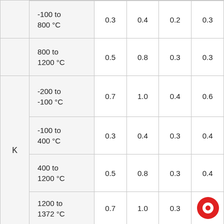| Type | Range | Col1 | Col2 | Col3 | Col4 |
| --- | --- | --- | --- | --- | --- |
|  | -100 to 800 °C | 0.3 | 0.4 | 0.2 | 0.3 |
|  | 800 to 1200 °C | 0.5 | 0.8 | 0.3 | 0.3 |
| K | -200 to -100 °C | 0.7 | 1.0 | 0.4 | 0.6 |
|  | -100 to 400 °C | 0.3 | 0.4 | 0.3 | 0.4 |
|  | 400 to 1200 °C | 0.5 | 0.8 | 0.3 | 0.4 |
|  | 1200 to 1372 °C | 0.7 | 1.0 | 0.3 | 0.4 |